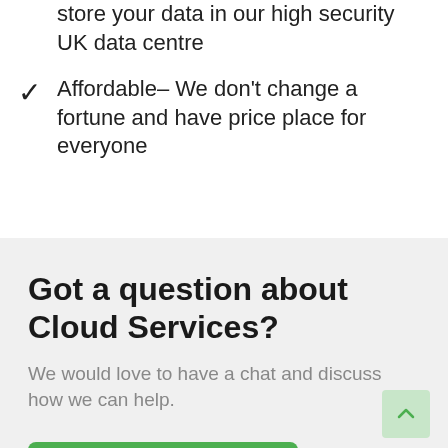store your data in our high security UK data centre
Affordable– We don't change a fortune and have price place for everyone
Got a question about Cloud Services?
We would love to have a chat and discuss how we can help.
Get in touch now